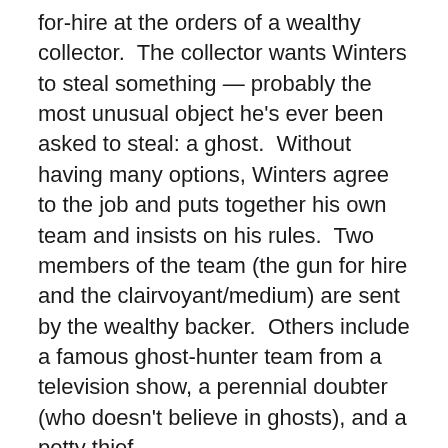for-hire at the orders of a wealthy collector. The collector wants Winters to steal something — probably the most unusual object he's ever been asked to steal: a ghost. Without having many options, Winters agree to the job and puts together his own team and insists on his rules. Two members of the team (the gun for hire and the clairvoyant/medium) are sent by the wealthy backer. Others include a famous ghost-hunter team from a television show, a perennial doubter (who doesn't believe in ghosts), and a petty thief.
While it appears mostly a horror tale (just look at that cover), it really starts out as a noir mystery, and even though the setting for the theft is a haunted mansion, we're more than a third of the way through before we get our first glimpse of a ghost (and what a glimpse, and what